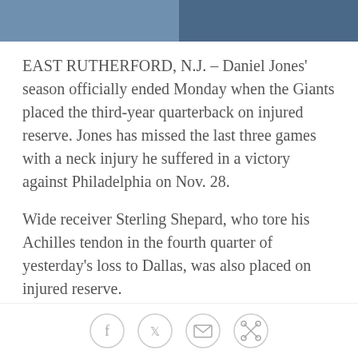[Figure (photo): Partial photo strip at top of page showing two side-by-side sports/news images cropped at top]
EAST RUTHERFORD, N.J. – Daniel Jones' season officially ended Monday when the Giants placed the third-year quarterback on injured reserve. Jones has missed the last three games with a neck injury he suffered in a victory against Philadelphia on Nov. 28.
Wide receiver Sterling Shepard, who tore his Achilles tendon in the fourth quarter of yesterday's loss to Dallas, was also placed on injured reserve.
"Over the course of the past few weeks, Daniel has been examined by Dr. Frank Cammisa of Hospital for Special Surgery and Dr. Robert Watkins of the Marina Spine Center at Marina Del Rey Hospital," said Ronnie Barnes, the Giants' senior vice president of medical
[Figure (infographic): Social media sharing icons row: Facebook, Twitter, Email, Link]